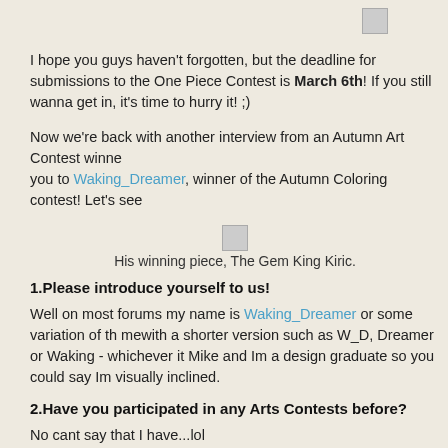[Figure (other): Small image placeholder at top right]
I hope you guys haven't forgotten, but the deadline for submissions to the One Piece Contest is March 6th! If you still wanna get in, it's time to hurry it! ;)
Now we're back with another interview from an Autumn Art Contest winner. you to Waking_Dreamer, winner of the Autumn Coloring contest! Let's see
[Figure (other): Small image of winning piece, The Gem King Kiric]
His winning piece, The Gem King Kiric.
1.Please introduce yourself to us!
Well on most forums my name is Waking_Dreamer or some variation of th mewith a shorter version such as W_D, Dreamer or Waking - whichever it Mike and Im a design graduate so you could say Im visually inclined.
2.Have you participated in any Arts Contests before?
No cant say that I have...lol
3. Tell us something about your winning piece. What inspired you to
Well the entry wasnt specifically done for the contest, I think I completed i Though when I first saw it, I was so inspired by it I thought it would be a to reamined in black and white.